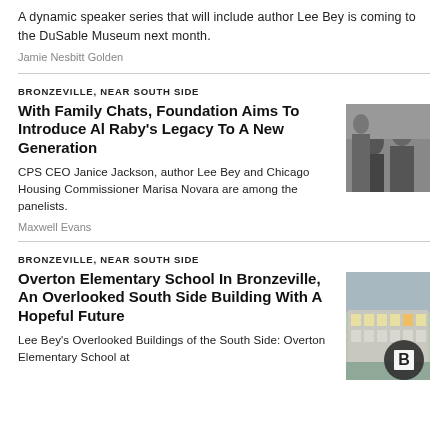A dynamic speaker series that will include author Lee Bey is coming to the DuSable Museum next month.
Jamie Nesbitt Golden
BRONZEVILLE, NEAR SOUTH SIDE
With Family Chats, Foundation Aims To Introduce Al Raby's Legacy To A New Generation
CPS CEO Janice Jackson, author Lee Bey and Chicago Housing Commissioner Marisa Novara are among the panelists.
Maxwell Evans
[Figure (photo): Black and white photo of people at a meeting or event]
BRONZEVILLE, NEAR SOUTH SIDE
Overton Elementary School In Bronzeville, An Overlooked South Side Building With A Hopeful Future
Lee Bey's Overlooked Buildings of the South Side: Overton Elementary School at
[Figure (photo): Color photo of Overton Elementary School building exterior with a B logo overlay]